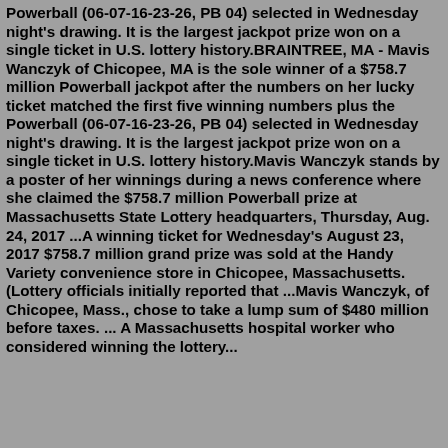Powerball (06-07-16-23-26, PB 04) selected in Wednesday night's drawing. It is the largest jackpot prize won on a single ticket in U.S. lottery history.BRAINTREE, MA - Mavis Wanczyk of Chicopee, MA is the sole winner of a $758.7 million Powerball jackpot after the numbers on her lucky ticket matched the first five winning numbers plus the Powerball (06-07-16-23-26, PB 04) selected in Wednesday night's drawing. It is the largest jackpot prize won on a single ticket in U.S. lottery history.Mavis Wanczyk stands by a poster of her winnings during a news conference where she claimed the $758.7 million Powerball prize at Massachusetts State Lottery headquarters, Thursday, Aug. 24, 2017 ...A winning ticket for Wednesday's August 23, 2017 $758.7 million grand prize was sold at the Handy Variety convenience store in Chicopee, Massachusetts. (Lottery officials initially reported that ...Mavis Wanczyk, of Chicopee, Mass., chose to take a lump sum of $480 million before taxes. ... A Massachusetts hospital worker who considered winning the lottery...